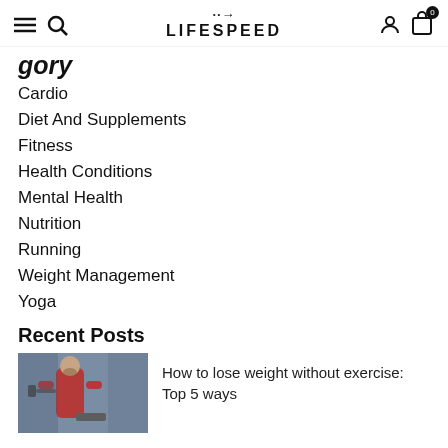LIFESPEED
Categories
Cardio
Diet And Supplements
Fitness
Health Conditions
Mental Health
Nutrition
Running
Weight Management
Yoga
Recent Posts
[Figure (photo): Man in red shirt exercising at a gym]
How to lose weight without exercise: Top 5 ways